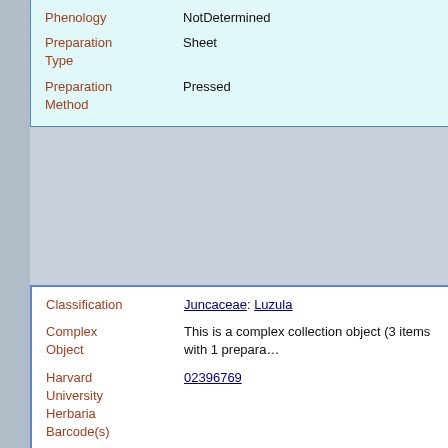| Field | Value |
| --- | --- |
| Phenology | NotDetermined |
| Preparation Type | Sheet |
| Preparation Method | Pressed |
| Field | Value |
| --- | --- |
| Classification | Juncaceae: Luzula |
| Complex Object | This is a complex collection object (3 items with 1 prepara… |
| Harvard University Herbaria Barcode(s) | 02396769 |
| Other Barcodes on Sheet | 02396770; 02396768 |
| Collector | W. N. Suksdorf |
| Country | United States of America |
| State | Washington |
| Geography | North America: North America (CA, US, MX) (Region): United States of America: Washington: Klickitat County |